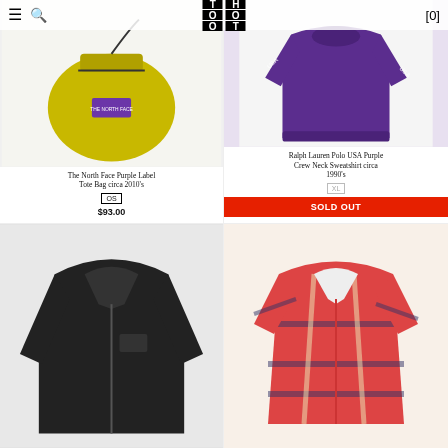≡ 🔍  TOO HOT  [0]
[Figure (photo): The North Face Purple Label yellow tote bag]
The North Face Purple Label Tote Bag circa 2010's
OS
$93.00
[Figure (photo): Ralph Lauren Polo USA Purple Crew Neck Sweatshirt]
Ralph Lauren Polo USA Purple Crew Neck Sweatshirt circa 1990's
XL
SOLD OUT
[Figure (photo): Black jacket product photo]
[Figure (photo): Red plaid short sleeve shirt product photo]